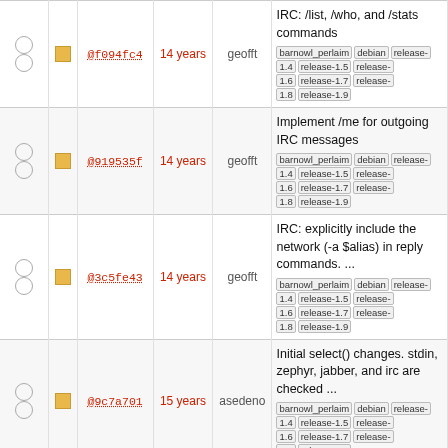|  |  | hash | age | author | description |
| --- | --- | --- | --- | --- | --- |
| ○ ○ | □ | @f094fc4 | 14 years | geofft | IRC: /list, /who, and /stats commands [barnowl_perlaim][debian][release-1.4][release-1.5][release-1.6][release-1.7][release-1.8][release-1.9] |
| ○ ○ | □ | @919535f | 14 years | geofft | Implement /me for outgoing IRC messages [barnowl_perlaim][debian][release-1.4][release-1.5][release-1.6][release-1.7][release-1.8][release-1.9] |
| ○ ○ | □ | @3c5fe43 | 14 years | geofft | IRC: explicitly include the network (-a $alias) in reply commands. ... [barnowl_perlaim][debian][release-1.4][release-1.5][release-1.6][release-1.7][release-1.8][release-1.9] |
| ○ ○ | □ | @9c7a701 | 15 years | asedeno | Initial select() changes. stdin, zephyr, jabber, and irc are checked ... [barnowl_perlaim][debian][release-1.4][release-1.5][release-1.6][release-1.7][release-1.8][release-1.9] |
| ○ ○ | □ | @cab045b | 15 years | nelhage | Fix IRC -- I forgot to add one ->conn in the last patch [barnowl_perlaim][debian][release-1.4][release-1.5][release-1.6][release-1.7][release-1.8][release-1.9] |
| ○ ○ | □ |  |  |  | * minor changes to IRC * run ./svkversion only once rather than at ... |